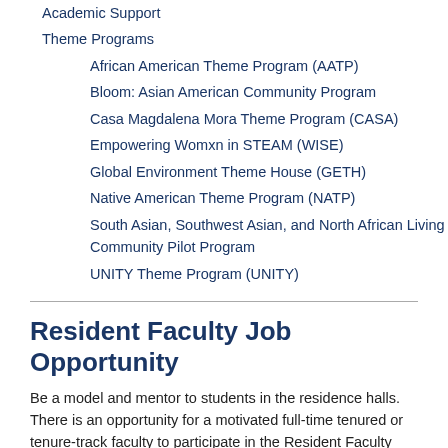Academic Support
Theme Programs
African American Theme Program (AATP)
Bloom: Asian American Community Program
Casa Magdalena Mora Theme Program (CASA)
Empowering Womxn in STEAM (WISE)
Global Environment Theme House (GETH)
Native American Theme Program (NATP)
South Asian, Southwest Asian, and North African Living Community Pilot Program
UNITY Theme Program (UNITY)
Resident Faculty Job Opportunity
Be a model and mentor to students in the residence halls. There is an opportunity for a motivated full-time tenured or tenure-track faculty to participate in the Resident Faculty